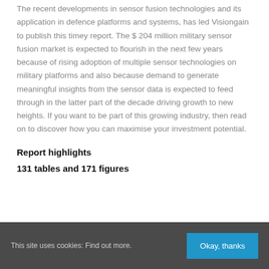The recent developments in sensor fusion technologies and its application in defence platforms and systems, has led Visiongain to publish this timey report. The $ 204 million military sensor fusion market is expected to flourish in the next few years because of rising adoption of multiple sensor technologies on military platforms and also because demand to generate meaningful insights from the sensor data is expected to feed through in the latter part of the decade driving growth to new heights. If you want to be part of this growing industry, then read on to discover how you can maximise your investment potential.
Report highlights
131 tables and 171 figures
This site uses cookies: Find out more. Okay, thanks